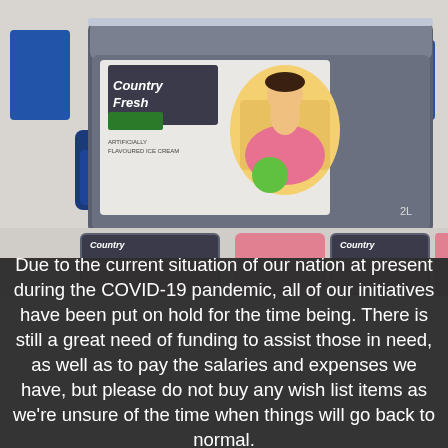[Figure (photo): Photo of a Country Fresh ice cream container (2L tub with princess/character artwork) sitting on a blue chair or trolley in an indoor setting.]
[Figure (photo): Photo showing multiple Country Fresh ice cream containers lined up, partially cropped at the bottom of the image.]
Due to the current situation of our nation at present during the COVID-19 pandemic, all of our initiatives have been put on hold for the time being. There is still a great need of funding to assist those in need, as well as to pay the salaries and expenses we have, but please do not buy any wish list items as we're unsure of the time when things will go back to normal.